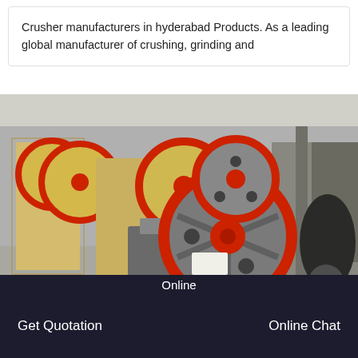Crusher manufacturers in hyderabad Products. As a leading global manufacturer of crushing, grinding and
[Figure (photo): Industrial jaw crushers with large red-rimmed flywheels in a factory/warehouse setting. Multiple yellow crusher machines visible in the background. Foreground shows a grey jaw crusher with red flywheel and red central hub.]
Online  |  Get Quotation  |  Online Chat